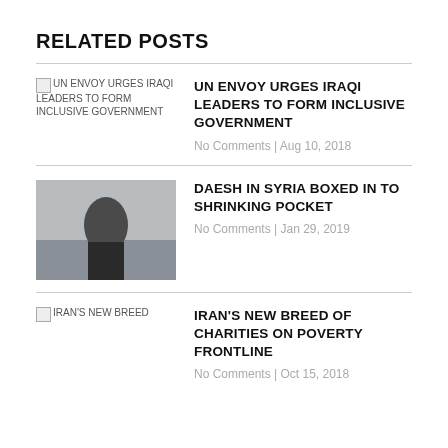RELATED POSTS
UN ENVOY URGES IRAQI LEADERS TO FORM INCLUSIVE GOVERNMENT
No Comments | Aug 10, 2018
DAESH IN SYRIA BOXED IN TO SHRINKING POCKET
No Comments | Jan 29, 2019
IRAN'S NEW BREED OF CHARITIES ON POVERTY FRONTLINE
No Comments | Oct 15, 2018